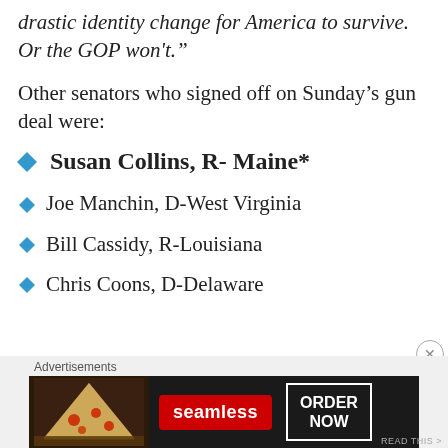drastic identity change for America to survive. Or the GOP won’t.”
Other senators who signed off on Sunday’s gun deal were:
Susan Collins, R- Maine*
Joe Manchin, D-West Virginia
Bill Cassidy, R-Louisiana
Chris Coons, D-Delaware
[Figure (other): Advertisement banner for Seamless food delivery showing pizza image, Seamless logo, and ORDER NOW button]
Advertisements